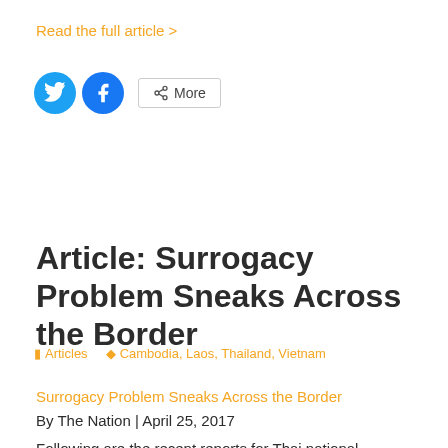Read the full article >
[Figure (other): Social share buttons: Twitter (blue circle), Facebook (blue circle), and More button with share icon]
Article: Surrogacy Problem Sneaks Across the Border
Articles   Cambodia, Laos, Thailand, Vietnam
Surrogacy Problem Sneaks Across the Border
By The Nation | April 25, 2017
Following are the recent reports for Thai national...